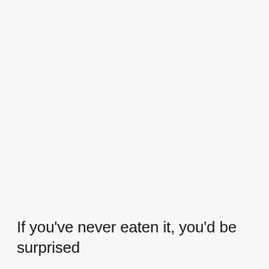If you've never eaten it, you'd be surprised